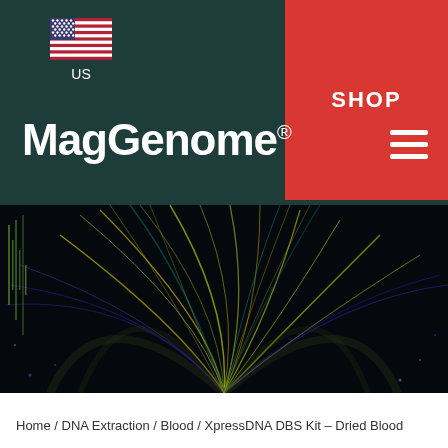US | SHOP
MagGenome®
[Figure (photo): Dark background with colorful glowing DNA/genome circular visualization strands in yellow, green, purple, and blue colors radiating from the center]
Home / DNA Extraction / Blood / XpressDNA DBS Kit – Dried Blood